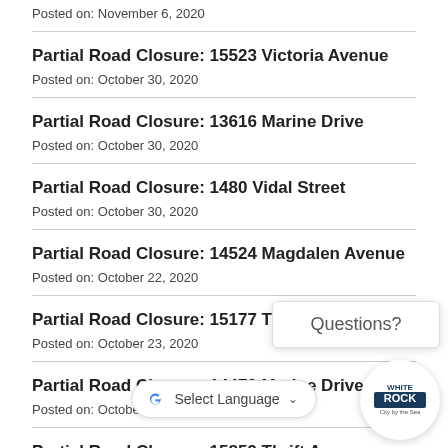Posted on: November 6, 2020
Partial Road Closure: 15523 Victoria Avenue
Posted on: October 30, 2020
Partial Road Closure: 13616 Marine Drive
Posted on: October 30, 2020
Partial Road Closure: 1480 Vidal Street
Posted on: October 30, 2020
Partial Road Closure: 14524 Magdalen Avenue
Posted on: October 22, 2020
Partial Road Closure: 15177 Thrift Avenue
Posted on: October 23, 2020
Partial Road Closure: 14479 Marine Drive
Posted on: October 23, 2020
Partial Road Closure: 15859 Thrift Avenue